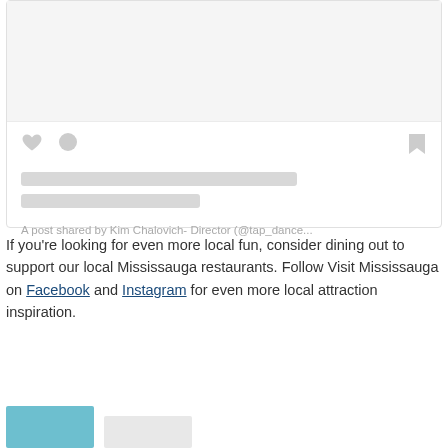[Figure (screenshot): Social media post card (Instagram embed) with placeholder content area at top, heart and comment icons, bookmark icon, skeleton loading lines, and caption text reading 'A post shared by Kim Chalovich- Director (@tap_dance...']
If you're looking for even more local fun, consider dining out to support our local Mississauga restaurants. Follow Visit Mississauga on Facebook and Instagram for even more local attraction inspiration.
[Figure (photo): Partial view of a teal/turquoise colored photo at the bottom left of the page]